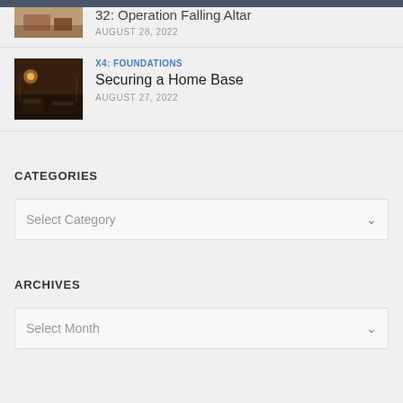32: Operation Falling Altar
AUGUST 28, 2022
[Figure (photo): Dark sci-fi interior scene thumbnail for X4: Foundations article]
X4: FOUNDATIONS
Securing a Home Base
AUGUST 27, 2022
CATEGORIES
Select Category
ARCHIVES
Select Month